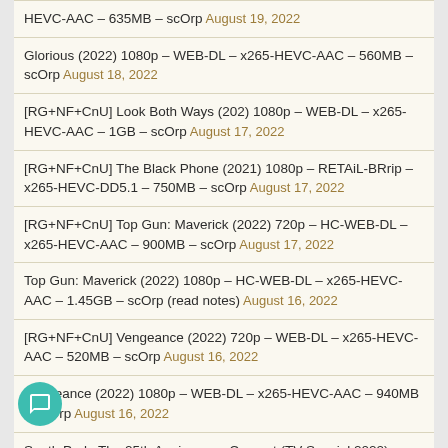HEVC-AAC – 635MB – scOrp August 19, 2022
Glorious (2022) 1080p – WEB-DL – x265-HEVC-AAC – 560MB – scOrp August 18, 2022
[RG+NF+CnU] Look Both Ways (202) 1080p – WEB-DL – x265-HEVC-AAC – 1GB – scOrp August 17, 2022
[RG+NF+CnU] The Black Phone (2021) 1080p – RETAiL-BRrip – x265-HEVC-DD5.1 – 750MB – scOrp August 17, 2022
[RG+NF+CnU] Top Gun: Maverick (2022) 720p – HC-WEB-DL – x265-HEVC-AAC – 900MB – scOrp August 17, 2022
Top Gun: Maverick (2022) 1080p – HC-WEB-DL – x265-HEVC-AAC – 1.45GB – scOrp (read notes) August 16, 2022
[RG+NF+CnU] Vengeance (2022) 720p – WEB-DL – x265-HEVC-AAC – 520MB – scOrp August 16, 2022
Vengeance (2022) 1080p – WEB-DL – x265-HEVC-AAC – 940MB – scOrp August 16, 2022
South Park: The 25th Anniversary Concert (TV Special 2022) 1080p – WEB-DL – x265-HEVC-AAC – 2GB – scOrp August 15, 2022
Gabriel's Rapture: Part Three (The Gabriel's Inferno Series) (2022) 1080p – AMZN-WEB-DL – x265-HEVC-AAC – 1.15GB – scOrp August 15, 2022
Pil's Adventures (2021) 1080p – WEB-DL – x265-HEVC-AAC – 1.1GB